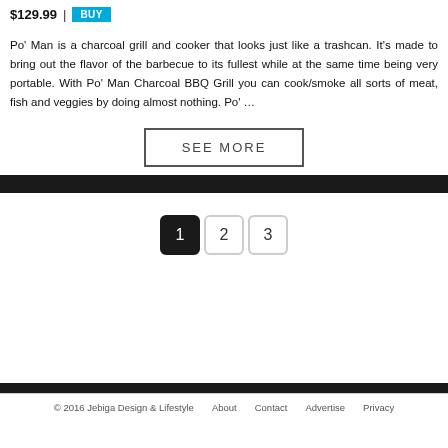$129.99 | BUY
Po' Man is a charcoal grill and cooker that looks just like a trashcan. It's made to bring out the flavor of the barbecue to its fullest while at the same time being very portable. With Po' Man Charcoal BBQ Grill you can cook/smoke all sorts of meat, fish and veggies by doing almost nothing. Po' …
SEE MORE
1  2  3
© 2016 Jebiga Design & Lifestyle   About   Contact   Advertise   Privacy